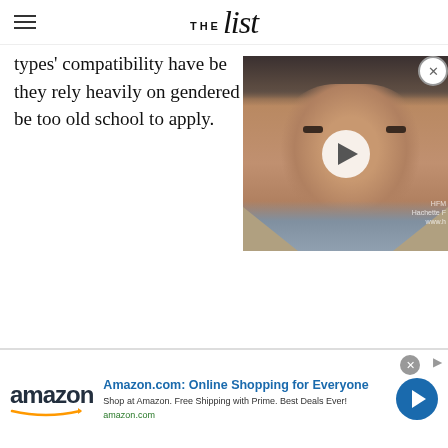THE list
types' compatibility have be... they rely heavily on gendered... be too old school to apply.
[Figure (photo): Video player showing a man's face with a white circular play button overlay. Background shows partial text 'Hachette F...' watermark.]
[Figure (screenshot): Amazon advertisement banner: 'Amazon.com: Online Shopping for Everyone' with Amazon logo, subtext 'Shop at Amazon. Free Shipping with Prime. Best Deals Ever! amazon.com' and a blue circle chevron button.]